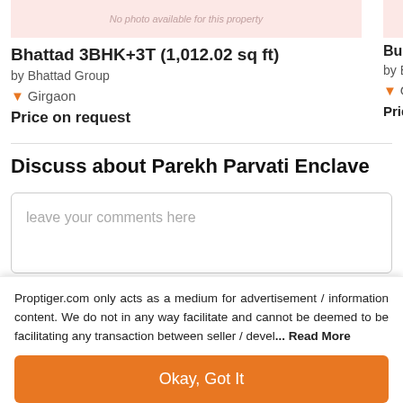[Figure (photo): No photo available for this property – pink/rose placeholder image for Bhattad property card]
Bhattad 3BHK+3T (1,012.02 sq ft)
by Bhattad Group
Girgaon
Price on request
[Figure (photo): No photo available for this property – pink/rose placeholder image for Buildwell property card (partially visible)]
Buildwell 3B
by Buildwell D
Girgaon
Price on rec
Discuss about Parekh Parvati Enclave
leave your comments here
Proptiger.com only acts as a medium for advertisement / information content. We do not in any way facilitate and cannot be deemed to be facilitating any transaction between seller / devel... Read More
Okay, Got It